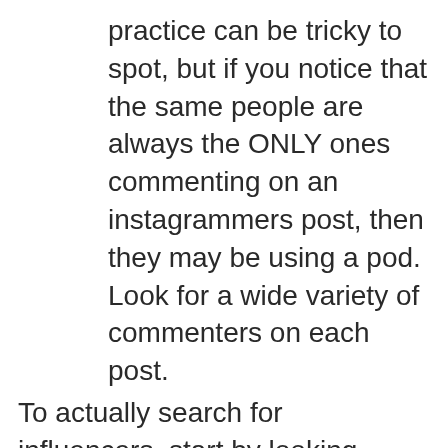practice can be tricky to spot, but if you notice that the same people are always the ONLY ones commenting on an instagrammers post, then they may be using a pod. Look for a wide variety of commenters on each post. To actually search for influencers, start by looking through your brand's existing social media followers. It'll always be easier to come to an arrangement with